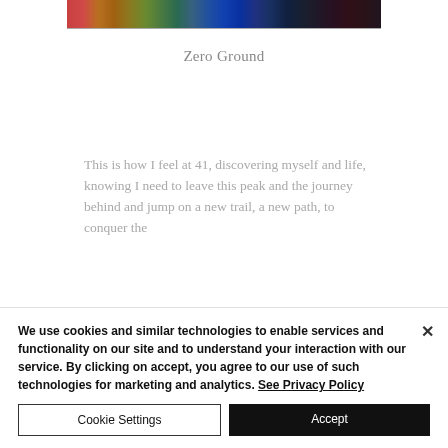[Figure (photo): Colorful artwork strip showing abstract painting with blues, greens, reds, and yellows]
Zero Ground
This is how I feel at 41, discovering myself and life, knowing I need to leave this peak and the journey behind and jump on a new trail, a new path, to conquer the [next chapter]
We use cookies and similar technologies to enable services and functionality on our site and to understand your interaction with our service. By clicking on accept, you agree to our use of such technologies for marketing and analytics. See Privacy Policy
Cookie Settings
Accept